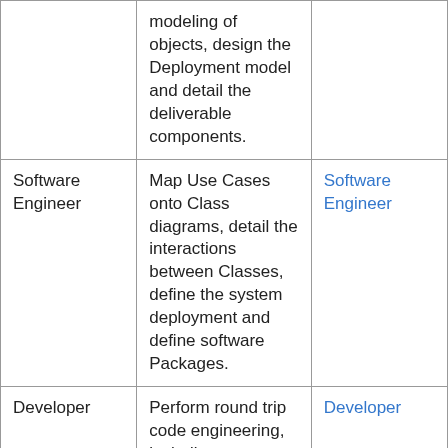|  | modeling of objects, design the Deployment model and detail the deliverable components. |  |
| Software Engineer | Map Use Cases onto Class diagrams, detail the interactions between Classes, define the system deployment and define software Packages. | Software Engineer |
| Developer | Perform round trip code engineering, including reverse engineering of existing code and ... | Developer |